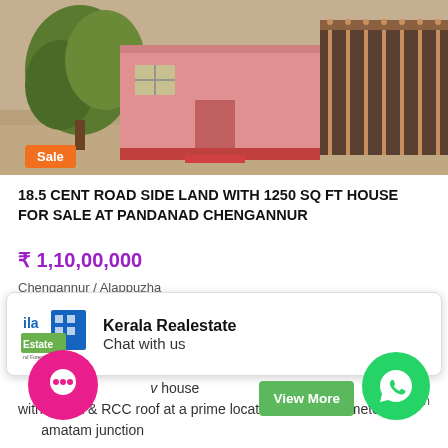[Figure (photo): Exterior photo of a pink-walled house with trees in front, driveway visible]
18.5 CENT ROAD SIDE LAND WITH 1250 SQ FT HOUSE FOR SALE AT PANDANAD CHENGANNUR
₹ 1,10,00,000
Chengannur / Alappuzha
ID: ALP79201 | 19 Dec 2018
house with sit out & RCC roof at a prime location around 50 meters amatam junction
[Figure (logo): Kerala Realestate chat widget with logo showing 'ila Estate' branding]
Kerala Realestate
Chat with us